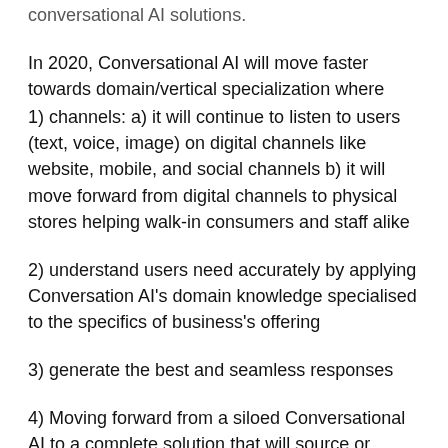conversational AI solutions.
In 2020, Conversational AI will move faster towards domain/vertical specialization where
1) channels: a) it will continue to listen to users (text, voice, image) on digital channels like website, mobile, and social channels b) it will move forward from digital channels to physical stores helping walk-in consumers and staff alike
2) understand users need accurately by applying Conversation AI's domain knowledge specialised to the specifics of business's offering
3) generate the best and seamless responses
4) Moving forward from a siloed Conversational AI to a complete solution that will source or deliver information